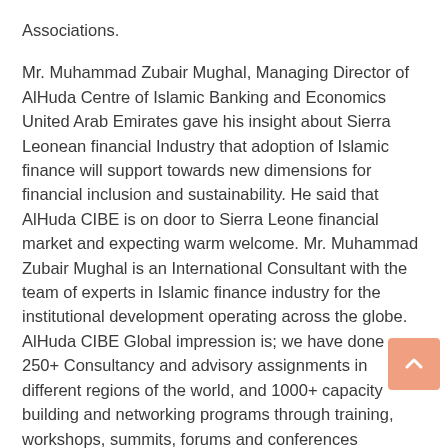Associations.
Mr. Muhammad Zubair Mughal, Managing Director of AlHuda Centre of Islamic Banking and Economics United Arab Emirates gave his insight about Sierra Leonean financial Industry that adoption of Islamic finance will support towards new dimensions for financial inclusion and sustainability. He said that AlHuda CIBE is on door to Sierra Leone financial market and expecting warm welcome. Mr. Muhammad Zubair Mughal is an International Consultant with the team of experts in Islamic finance industry for the institutional development operating across the globe. AlHuda CIBE Global impression is; we have done 250+ Consultancy and advisory assignments in different regions of the world, and 1000+ capacity building and networking programs through training, workshops, summits, forums and conferences successfully. We also have 90+ countries alumni on board for the education of Islamic finance through our capacity building programs.
AlHuda CIBE is glad to share that AlHuda CIBE West